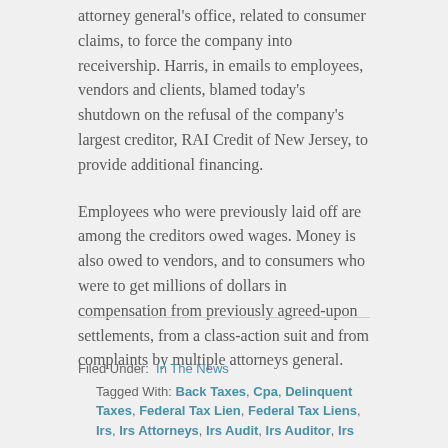attorney general's office, related to consumer claims, to force the company into receivership. Harris, in emails to employees, vendors and clients, blamed today's shutdown on the refusal of the company's largest creditor, RAI Credit of New Jersey, to provide additional financing.
Employees who were previously laid off are among the creditors owed wages. Money is also owed to vendors, and to consumers who were to get millions of dollars in compensation from previously agreed-upon settlements, from a class-action suit and from complaints by multiple attorneys general.
Filed Under: In The News
Tagged With: Back Taxes, Cpa, Delinquent Taxes, Federal Tax Lien, Federal Tax Liens, Irs, Irs Attorneys, Irs Audit, Irs Auditor, Irs